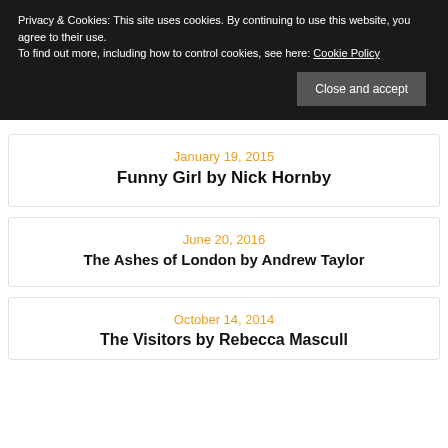Privacy & Cookies: This site uses cookies. By continuing to use this website, you agree to their use.
To find out more, including how to control cookies, see here: Cookie Policy
Close and accept
January 19, 2015
Funny Girl by Nick Hornby
June 20, 2016
The Ashes of London by Andrew Taylor
October 14, 2014
The Visitors by Rebecca Mascull